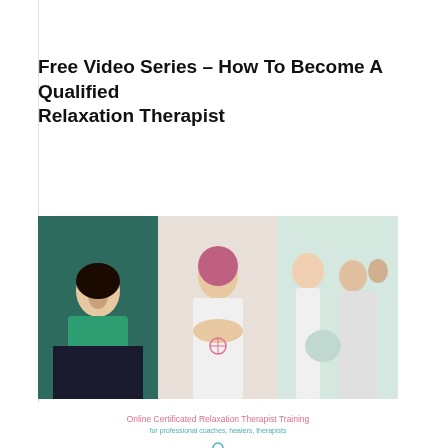Free Video Series – How To Become A Qualified Relaxation Therapist
[Figure (photo): Composite image of three panels showing relaxation therapy scenes: a woman in green dress reclining, a woman meditating with hands in prayer position, and a group meditation session. Below the images is text reading 'Online Certificated Relaxation Therapist Training' and 'for professional coaches, healers, therapists']
Learn How You Can Win A Free Creative
This website uses cookies to improve your experience. We'll assume you're ok with this, but you can opt-out if you wish.
Cookie settings   ACCEPT